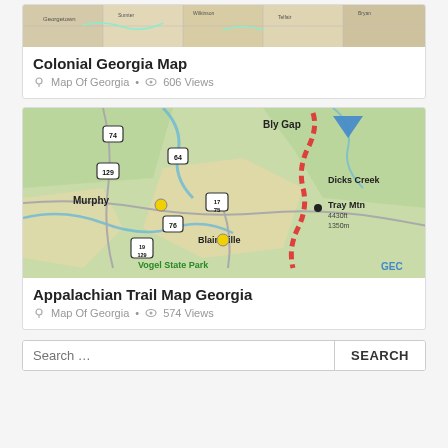[Figure (map): Colonial Georgia historical map showing county boundaries and place names]
Colonial Georgia Map
Map Of Georgia · 606 Views
[Figure (map): Appalachian Trail map of Georgia showing Murphy, Blairsville, Bly Gap, Dicks Creek, Tray Mtn, Vogel State Park, and route markers with red dashed trail line]
Appalachian Trail Map Georgia
Map Of Georgia · 574 Views
Search ...
SEARCH